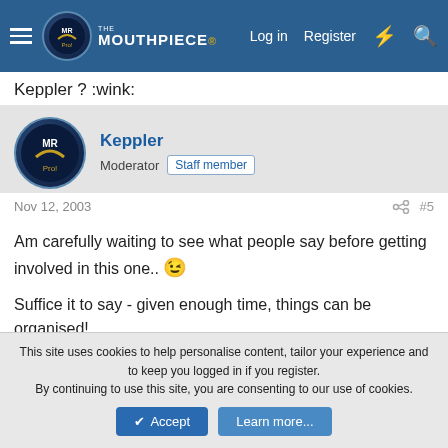The Mouthpiece - Log in | Register
Keppler ? :wink:
Keppler
Moderator  Staff member
Nov 12, 2003  #5
Am carefully waiting to see what people say before getting involved in this one.. 😉

Suffice it to say - given enough time, things can be organised!

Kepps
This site uses cookies to help personalise content, tailor your experience and to keep you logged in if you register.
By continuing to use this site, you are consenting to our use of cookies.
✔ Accept  Learn more...